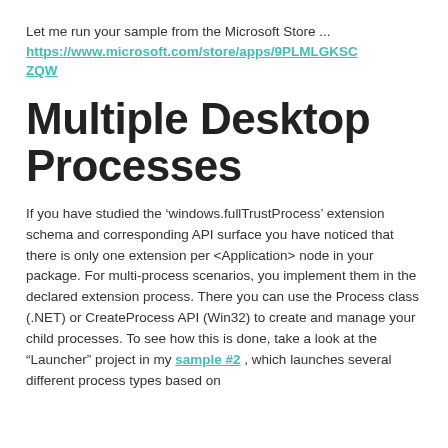Let me run your sample from the Microsoft Store ...
https://www.microsoft.com/store/apps/9PLMLGKSCZQW
Multiple Desktop Processes
If you have studied the ‘windows.fullTrustProcess’ extension schema and corresponding API surface you have noticed that there is only one extension per <Application> node in your package. For multi-process scenarios, you implement them in the declared extension process. There you can use the Process class (.NET) or CreateProcess API (Win32) to create and manage your child processes. To see how this is done, take a look at the “Launcher” project in my sample #2 , which launches several different process types based on